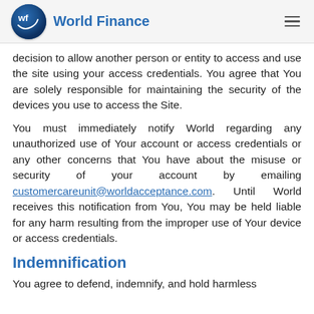World Finance
decision to allow another person or entity to access and use the site using your access credentials. You agree that You are solely responsible for maintaining the security of the devices you use to access the Site.
You must immediately notify World regarding any unauthorized use of Your account or access credentials or any other concerns that You have about the misuse or security of your account by emailing customercareunit@worldacceptance.com. Until World receives this notification from You, You may be held liable for any harm resulting from the improper use of Your device or access credentials.
Indemnification
You agree to defend, indemnify, and hold harmless